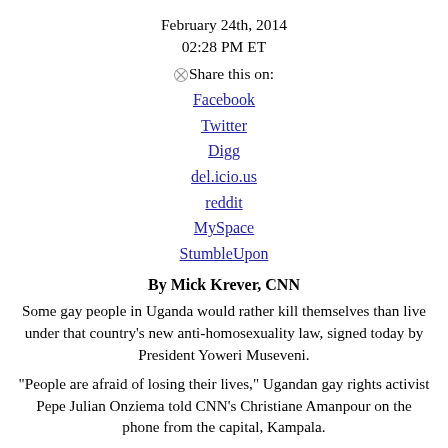February 24th, 2014
02:28 PM ET
Share this on:
Facebook
Twitter
Digg
del.icio.us
reddit
MySpace
StumbleUpon
By Mick Krever, CNN
Some gay people in Uganda would rather kill themselves than live under that country’s new anti-homosexuality law, signed today by President Yoweri Museveni.
“People are afraid of losing their lives,” Ugandan gay rights activist Pepe Julian Onziema told CNN’s Christiane Amanpour on the phone from the capital, Kampala.
“Prior to the bill becoming law today, people attempted suicide because they are like, ‘I’m not going to live to see this country kill